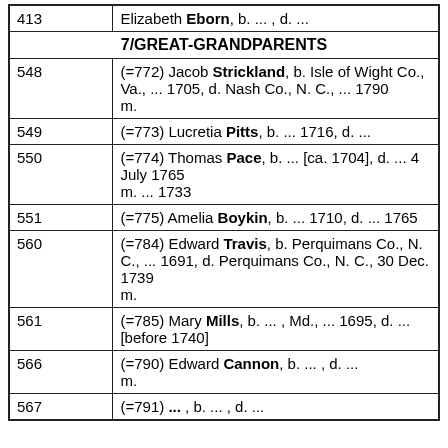| Number | Details |
| --- | --- |
| 413 | Elizabeth Eborn, b. ... , d. ... |
| 7/GREAT-GRANDPARENTS |  |
| 548 | (=772) Jacob Strickland, b. Isle of Wight Co., Va., ... 1705, d. Nash Co., N. C., ... 1790 m. |
| 549 | (=773) Lucretia Pitts, b. ... 1716, d. ... |
| 550 | (=774) Thomas Pace, b. ... [ca. 1704], d. ... 4 July 1765 m. ... 1733 |
| 551 | (=775) Amelia Boykin, b. ... 1710, d. ... 1765 |
| 560 | (=784) Edward Travis, b. Perquimans Co., N. C., ... 1691, d. Perquimans Co., N. C., 30 Dec. 1739 m. |
| 561 | (=785) Mary Mills, b. ... , Md., ... 1695, d. ... [before 1740] |
| 566 | (=790) Edward Cannon, b. ... , d. ... m. |
| 567 | (=791) ... , b. ... , d. ... |